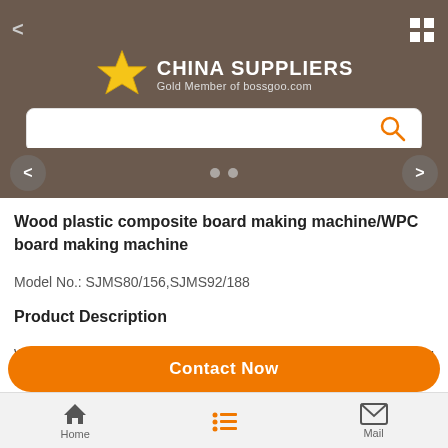[Figure (screenshot): China Suppliers Gold Member of bossgoo.com header banner with star logo, back arrow, grid icon, and search bar with orange search icon]
Wood plastic composite board making machine/WPC board making machine
Model No.: SJMS80/156,SJMS92/188
Product Description
Wood plastic composite board making machine/WPC board making machine WPC furniture board,furniture board making machine
Contact Now
Home   Mail